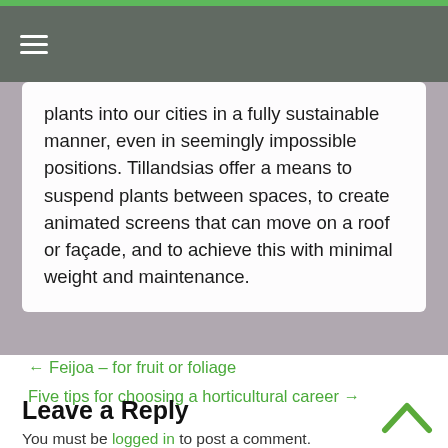☰ (navigation menu icon)
plants into our cities in a fully sustainable manner, even in seemingly impossible positions. Tillandsias offer a means to suspend plants between spaces, to create animated screens that can move on a roof or façade, and to achieve this with minimal weight and maintenance.
← Feijoa – for fruit or foliage
Five tips for choosing a horticultural career →
Leave a Reply
You must be logged in to post a comment.